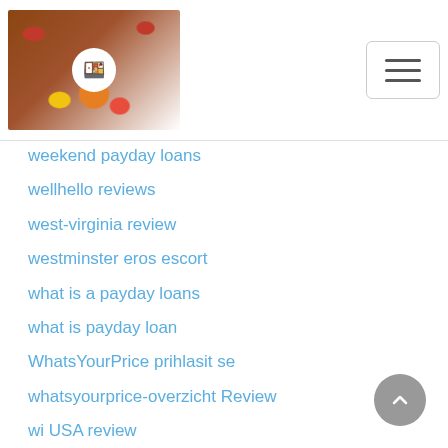[Figure (logo): Website logo with food/snack imagery on wooden background with circular icon, and hamburger menu button on the right]
weekend payday loans
wellhello reviews
west-virginia review
westminster eros escort
what is a payday loans
what is payday loan
WhatsYourPrice prihlasit se
whatsyourprice-overzicht Review
wi USA review
wildbuddies review